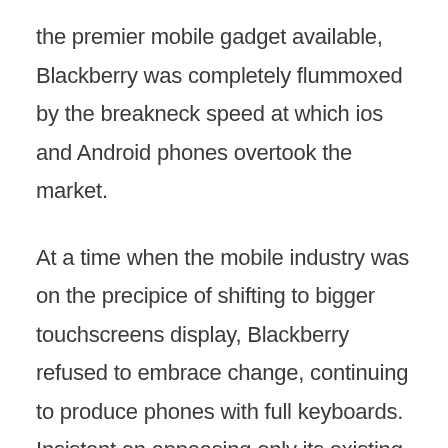the premier mobile gadget available, Blackberry was completely flummoxed by the breakneck speed at which ios and Android phones overtook the market.
At a time when the mobile industry was on the precipice of shifting to bigger touchscreens display, Blackberry refused to embrace change, continuing to produce phones with full keyboards. Insistent on appeasing only its existing “business” customers, the company colossally failed to tap the new customer base which would use smartphones as a means of entertainment and not just for communication